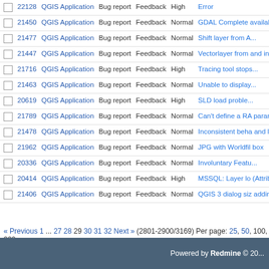|  | # | Project | Tracker | Status | Priority | Subject |
| --- | --- | --- | --- | --- | --- | --- |
|  | 22128 | QGIS Application | Bug report | Feedback | High | Error |
|  | 21450 | QGIS Application | Bug report | Feedback | Normal | GDAL Complete available on kyng... |
|  | 21477 | QGIS Application | Bug report | Feedback | Normal | Shift layer from A... |
|  | 21447 | QGIS Application | Bug report | Feedback | Normal | Vectorlayer from and inconsistent... |
|  | 21716 | QGIS Application | Bug report | Feedback | High | Tracing tool stops... |
|  | 21463 | QGIS Application | Bug report | Feedback | Normal | Unable to display... |
|  | 20619 | QGIS Application | Bug report | Feedback | High | SLD load proble... |
|  | 21789 | QGIS Application | Bug report | Feedback | Normal | Can't define a RA parameter type w @decorator style... |
|  | 21478 | QGIS Application | Bug report | Feedback | Normal | Inconsistent beha and line measure... |
|  | 21962 | QGIS Application | Bug report | Feedback | Normal | JPG with Worldfil box |
|  | 20336 | QGIS Application | Bug report | Feedback | Normal | Involuntary Featu... |
|  | 20414 | QGIS Application | Bug report | Feedback | High | MSSQL: Layer lo (Attribute Table c... |
|  | 21406 | QGIS Application | Bug report | Feedback | Normal | QGIS 3 dialog siz adding features t... |
« Previous 1 ... 27 28 29 30 31 32 Next » (2801-2900/3169) Per page: 25, 50, 100, 200
Powered by Redmine © 20...